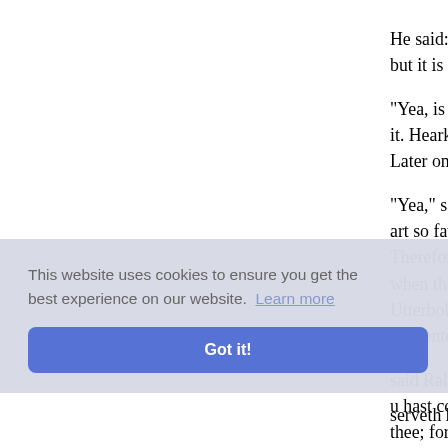He said: "Fair lord, I would that I might do thee good; but it is hard to do good deeds in Hell, e...
"Yea, is it so bad as that?" said Ralph. ... it. Hearken, lord, there is none anigh u... Later on it may be over late: Go thou no...
"Yea," said Ralph, "but how if I be tak... art so favoured that thou mayst go whit... Therefore it will be easy for thee to d... when thou comest to a good pass, wh... Utterbol: for thou art over good to be m... tormented till thy life is spoilt, and by th...
...said Ralph... u hast co... thee; for... d Redhea... thee, it v... serveth him, and she wearieth of thee ...
This website uses cookies to ensure you get the best experience on our website. Learn more
Got it!